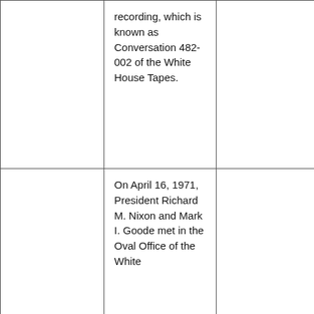|  | recording, which is known as Conversation 482-002 of the White House Tapes. |  |
|  | On April 16, 1971, President Richard M. Nixon and Mark I. Goode met in the Oval Office of the White... |  |